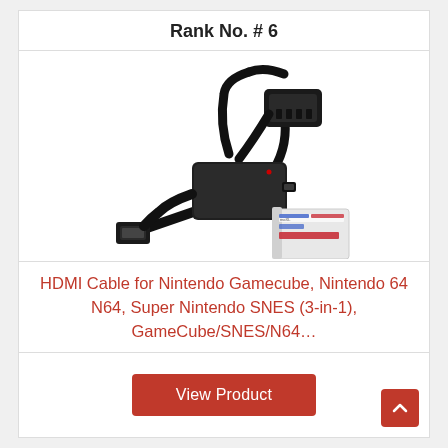Rank No. # 6
[Figure (photo): HDMI cable adapter for Nintendo Gamecube/N64/SNES with black box converter unit, HDMI connector cable, and product packaging box]
HDMI Cable for Nintendo Gamecube, Nintendo 64 N64, Super Nintendo SNES (3-in-1), GameCube/SNES/N64…
View Product